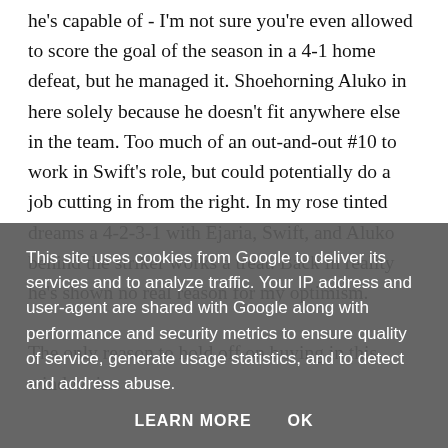he's capable of - I'm not sure you're even allowed to score the goal of the season in a 4-1 home defeat, but he managed it. Shoehorning Aluko in here solely because he doesn't fit anywhere else in the team. Too much of an out-and-out #10 to work in Swift's role, but could potentially do a job cutting in from the right. In my rose tinted dreams a 4-2-3-1 with Ejaria, Swift, and Aluko behind the striker works a treat. Back in reality he's shown no real reason for my optimism.

The only reason to hold off on buying in this window is
This site uses cookies from Google to deliver its services and to analyze traffic. Your IP address and user-agent are shared with Google along with performance and security metrics to ensure quality of service, generate usage statistics, and to detect and address abuse.
LEARN MORE   OK